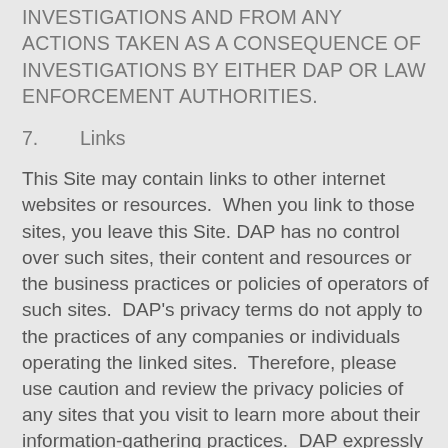INVESTIGATIONS AND FROM ANY ACTIONS TAKEN AS A CONSEQUENCE OF INVESTIGATIONS BY EITHER DAP OR LAW ENFORCEMENT AUTHORITIES.
7.      Links
This Site may contain links to other internet websites or resources.  When you link to those sites, you leave this Site. DAP has no control over such sites, their content and resources or the business practices or policies of operators of such sites.  DAP's privacy terms do not apply to the practices of any companies or individuals operating the linked sites.  Therefore, please use caution and review the privacy policies of any sites that you visit to learn more about their information-gathering practices.  DAP expressly disclaims all responsibility or liability for the availability or accuracy of such external sites or